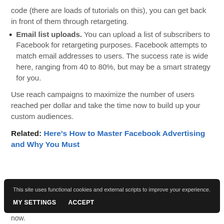code (there are loads of tutorials on this), you can get back in front of them through retargeting.
Email list uploads. You can upload a list of subscribers to Facebook for retargeting purposes. Facebook attempts to match email addresses to users. The success rate is wide here, ranging from 40 to 80%, but may be a smart strategy for you.
Use reach campaigns to maximize the number of users reached per dollar and take the time now to build up your custom audiences.
Related: Here's How to Master Facebook Advertising and Why You Must
This site uses functional cookies and external scripts to improve your experience.
MY SETTINGS   ACCEPT
now.